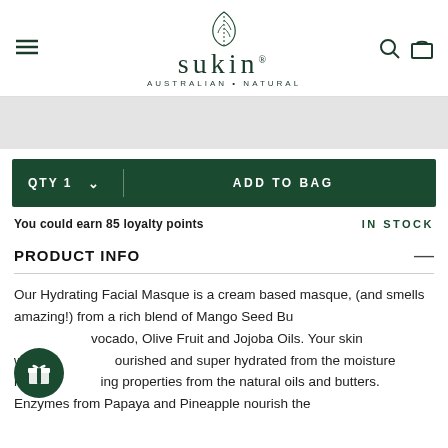sukin AUSTRALIAN • NATURAL
[Figure (screenshot): Gray banner/image area below header]
QTY 1   ADD TO BAG
You could earn 85 loyalty points   IN STOCK
PRODUCT INFO
Our Hydrating Facial Masque is a cream based masque, (and smells amazing!) from a rich blend of Mango Seed Butter, Avocado, Olive Fruit and Jojoba Oils. Your skin will be nourished and super hydrated from the moisture restoring properties from the natural oils and butters. Enzymes from Papaya and Pineapple nourish the